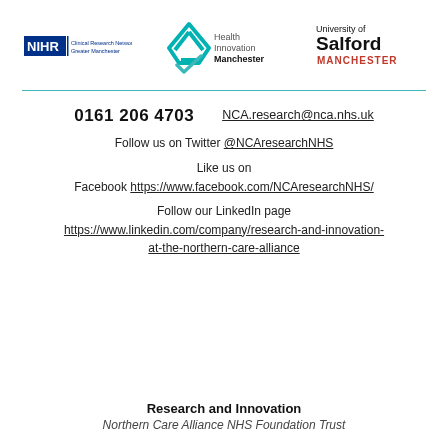[Figure (logo): NIHR Clinical Research Network Greater Manchester logo]
[Figure (logo): Health Innovation Manchester logo with teal diamond/chevron shape]
[Figure (logo): University of Salford Manchester logo]
0161 206 4703   NCA.research@nca.nhs.uk
Follow us on Twitter @NCAresearchNHS
Like us on Facebook https://www.facebook.com/NCAresearchNHS/
Follow our LinkedIn page https://www.linkedin.com/company/research-and-innovation-at-the-northern-care-alliance
Research and Innovation
Northern Care Alliance NHS Foundation Trust